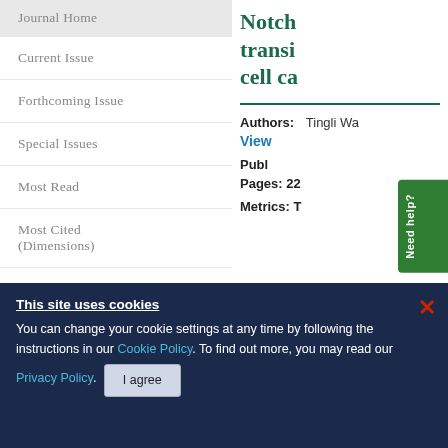Journal Home
Current Issue
Forthcoming Issue
Special Issues
Most Read
Most Cited (Dimensions)
Most Cited (CrossRef)
Social Media
Archive
Notch transi cell ca
Authors: Tingli Wa
View
Publ
Pages: 22
Metrics: T
This site uses cookies
You can change your cookie settings at any time by following the instructions in our Cookie Policy. To find out more, you may read our Privacy Policy.